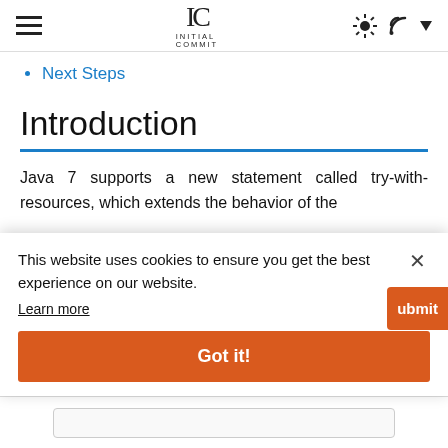INITIAL COMMIT — Navigation bar with hamburger menu, logo, sun/RSS icons
Next Steps
Introduction
Java 7 supports a new statement called try-with-resources, which extends the behavior of the
This website uses cookies to ensure you get the best experience on our website. Learn more Got it!